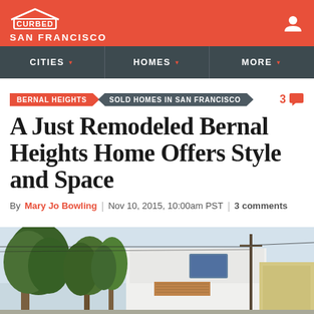CURBED SAN FRANCISCO
CITIES | HOMES | MORE
BERNAL HEIGHTS | SOLD HOMES IN SAN FRANCISCO | 3 comments
A Just Remodeled Bernal Heights Home Offers Style and Space
By Mary Jo Bowling | Nov 10, 2015, 10:00am PST | 3 comments
[Figure (photo): Exterior photo of a modern remodeled home in Bernal Heights with trees in the foreground and a white facade with wood accents]